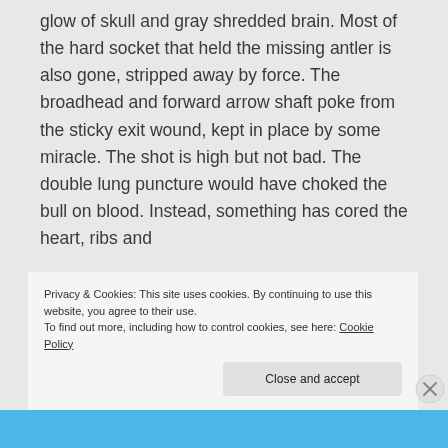glow of skull and gray shredded brain. Most of the hard socket that held the missing antler is also gone, stripped away by force. The broadhead and forward arrow shaft poke from the sticky exit wound, kept in place by some miracle. The shot is high but not bad. The double lung puncture would have choked the bull on blood. Instead, something has cored the heart, ribs and
Privacy & Cookies: This site uses cookies. By continuing to use this website, you agree to their use.
To find out more, including how to control cookies, see here: Cookie Policy
Close and accept